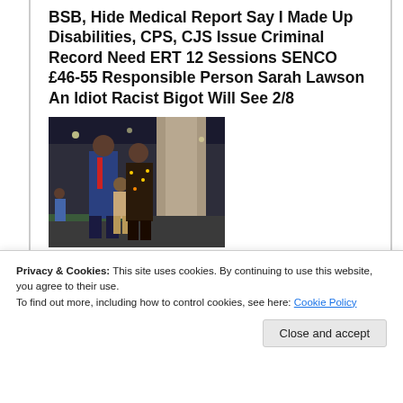BSB, Hide Medical Report Say I Made Up Disabilities, CPS, CJS Issue Criminal Record Need ERT 12 Sessions SENCO £46-55 Responsible Person Sarah Lawson An Idiot Racist Bigot Will See 2/8
[Figure (photo): Photo of three people (a man in a suit with a red tie, a child, and a woman in a floral dress) standing outdoors at night near a stone pillar, with lights in the background]
Privacy & Cookies: This site uses cookies. By continuing to use this website, you agree to their use.
To find out more, including how to control cookies, see here: Cookie Policy
Close and accept
See https://momslanding.org.com/2021/08/02/a-without...